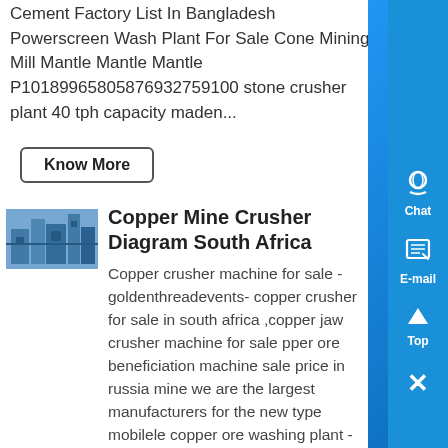Cement Factory List In Bangladesh Powerscreen Wash Plant For Sale Cone Mining Mill Mantle Mantle Mantle P10189965805876932759100 stone crusher plant 40 tph capacity maden...
Know More
[Figure (photo): Industrial machinery/crusher equipment photo with blue tones]
Copper Mine Crusher Diagram South Africa
Copper crusher machine for sale - goldenthreadevents- copper crusher for sale in south africa ,copper jaw crusher machine for sale pper ore beneficiation machine sale price in russia mine we are the largest manufacturers for the new type mobilele copper ore washing plant - youtube mobile concrete